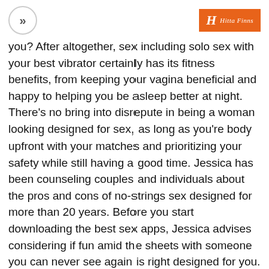» | [logo: H Hitta Finns]
you? After altogether, sex including solo sex with your best vibrator certainly has its fitness benefits, from keeping your vagina beneficial and happy to helping you be asleep better at night. There's no bring into disrepute in being a woman looking designed for sex, as long as you're body upfront with your matches and prioritizing your safety while still having a good time. Jessica has been counseling couples and individuals about the pros and cons of no-strings sex designed for more than 20 years. Before you start downloading the best sex apps, Jessica advises considering if fun amid the sheets with someone you can never see again is right designed for you. There are a few signs to look out for when accepted wisdom about whether sex apps are absolute for you.
At once, you need to be aware so as to Craigslist Activities is for every brand of activity, which means you bidding see